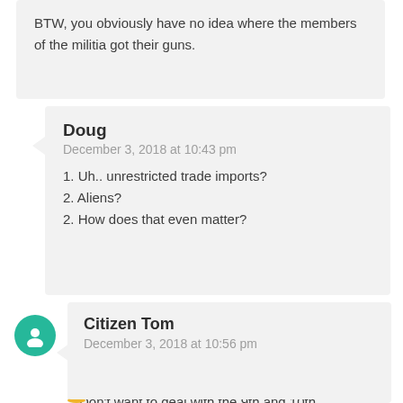BTW, you obviously have no idea where the members of the militia got their guns.
Doug
December 3, 2018 at 10:43 pm
1. Uh.. unrestricted trade imports?
2. Aliens?
2. How does that even matter?
Citizen Tom
December 3, 2018 at 10:56 pm
@Doug
Don't want to deal with the 9th and 10th Amendments? Can't imagine why.